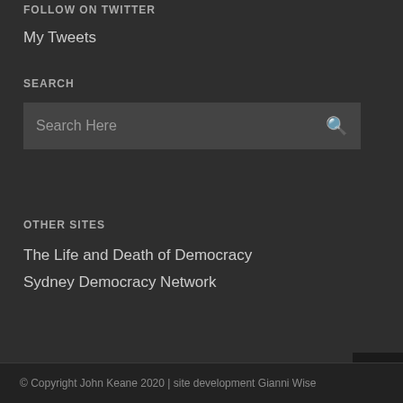FOLLOW ON TWITTER
My Tweets
SEARCH
Search Here
OTHER SITES
The Life and Death of Democracy
Sydney Democracy Network
© Copyright John Keane 2020 | site development Gianni Wise